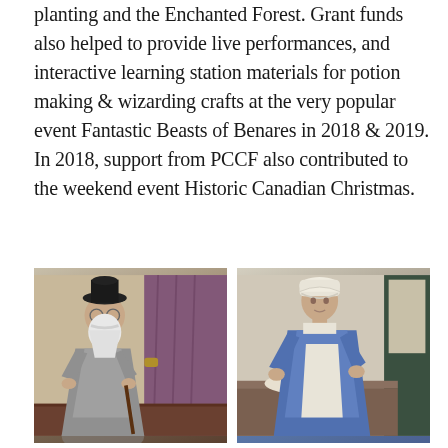planting and the Enchanted Forest. Grant funds also helped to provide live performances, and interactive learning station materials for potion making & wizarding crafts at the very popular event Fantastic Beasts of Benares in 2018 & 2019. In 2018, support from PCCF also contributed to the weekend event Historic Canadian Christmas.
[Figure (photo): Left photo: A person dressed as a wizard in grey robes with a long white beard, standing with a cane in front of purple curtains in a room with patterned wallpaper.]
[Figure (photo): Right photo: A person dressed in colonial/historical costume in a blue dress and white bonnet, working at a counter or table inside a historic building.]